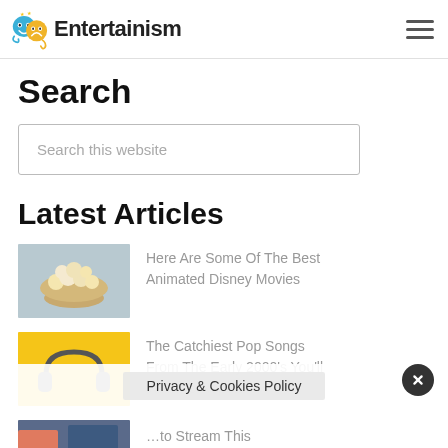Entertainism
Search
Search this website
Latest Articles
[Figure (photo): Bowl of popcorn on a light background]
Here Are Some Of The Best Animated Disney Movies
[Figure (photo): Headphones on a yellow background]
The Catchiest Pop Songs From The Early 2000's You'll Want To Repeat
[Figure (photo): Partially visible third article thumbnail]
…to Stream This
Privacy & Cookies Policy